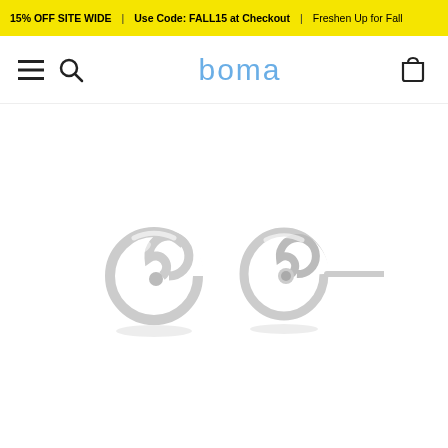15% OFF SITE WIDE | Use Code: FALL15 at Checkout | Freshen Up for Fall
[Figure (logo): Boma jewelry website navigation bar with hamburger menu, search icon, boma logo in blue, and shopping bag icon]
[Figure (photo): Two silver spiral swirl stud earrings on white background — one showing front face and one showing the side profile with post]